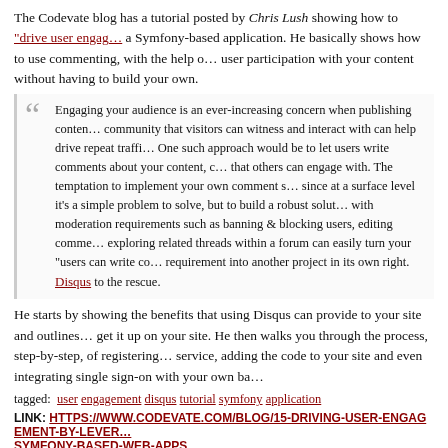The Codevate blog has a tutorial posted by Chris Lush showing how to "drive user engagement" in a Symfony-based application. He basically shows how to use commenting, with the help of Disqus, to drive user participation with your content without having to build your own.
Engaging your audience is an ever-increasing concern when publishing content online. Building a community that visitors can witness and interact with can help drive repeat traffic. One such approach would be to let users write comments about your content, creating conversation threads that others can engage with. The temptation to implement your own comment system is strong, since at a surface level it's a simple problem to solve, but to build a robust solution inclusive of features with moderation requirements such as banning & blocking users, editing comments, flagging, and exploring related threads within a forum can easily turn your "users can write comments" basic requirement into another project in its own right.
Disqus to the rescue.
He starts by showing the benefits that using Disqus can provide to your site and outlines the steps to get it up on your site. He then walks you through the process, step-by-step, of registering with the service, adding the code to your site and even integrating single sign-on with your own backend.
tagged: user engagement disqus tutorial symfony application
LINK: HTTPS://WWW.CODEVATE.COM/BLOG/15-DRIVING-USER-ENGAGEMENT-BY-LEVERAGING-DISQUS-IN-SYMFONY-BASED-WEB-APPS
SitePoint PHP Blog:
Sculpin Extended: Customizing Your Static Site Blog
by Chris ... at AUG 19, 2023, 2:45:00 PM